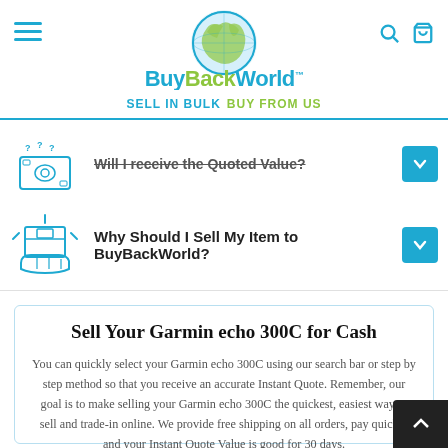BuyBackWorld - Buy. Bye. | SELL IN BULK | BUY FROM US
Will I receive the Quoted Value?
Why Should I Sell My Item to BuyBackWorld?
Sell Your Garmin echo 300C for Cash
You can quickly select your Garmin echo 300C using our search bar or step by step method so that you receive an accurate Instant Quote. Remember, our goal is to make selling your Garmin echo 300C the quickest, easiest way to sell and trade-in online. We provide free shipping on all orders, pay quickly and your Instant Quote Value is good for 30 days.